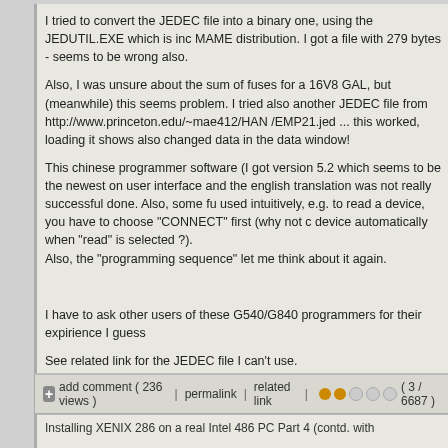I tried to convert the JEDEC file into a binary one, using the JEDUTIL.EXE which is inc MAME distribution. I got a file with 279 bytes - seems to be wrong also.

Also, I was unsure about the sum of fuses for a 16V8 GAL, but (meanwhile) this seems problem. I tried also another JEDEC file from http://www.princeton.edu/~mae412/HAN /EMP21.jed ... this worked, loading it shows also changed data in the data window!

This chinese programmer software (I got version 5.2 which seems to be the newest on user interface and the english translation was not really successful done. Also, some fu used intuitively, e.g. to read a device, you have to choose "CONNECT" first (why not c device automatically when "read" is selected ?).
Also, the "programming sequence" let me think about it again.

I have to ask other users of these G540/G840 programmers for their expirience I guess

See related link for the JEDEC file I can't use.

Added later:
>I have modified the non-working JEDEC file<, and as a result of it, I can load it into th now. 2194 fuses seems to be correct, because these additional fuses (compared to 20 data) are not used for normal data, instead, for managing content and special paramet

I also figured out (again later) that the G840 programmer should not ENCRYPT it as a otherwise a comparison with the loaded content (into buffer) will not work too.
+ add comment ( 236 views ) | permalink | related link | ●●○○○ ( 3 / 6687 )
Installing XENIX 286 on a real Intel 486 PC Part 4 (contd. with